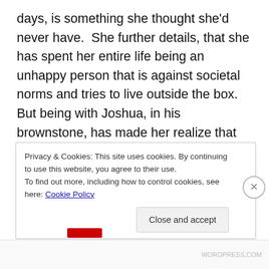days, is something she thought she'd never have.  She further details, that she has spent her entire life being an unhappy person that is against societal norms and tries to live outside the box.  But being with Joshua, in his brownstone, has made her realize that she is just like everybody else.  She too wants the beautiful home, great husband, and stable relationship.  This very fact scares her to the core, because she now questions everything she thought she knew about herself.  It is an epiphany moment for Hannah, and she may have matured in a way that previously would have been impossible
Privacy & Cookies: This site uses cookies. By continuing to use this website, you agree to their use.
To find out more, including how to control cookies, see here: Cookie Policy